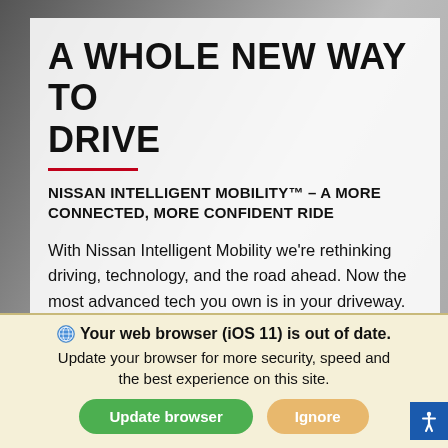A WHOLE NEW WAY TO DRIVE
NISSAN INTELLIGENT MOBILITY™ – A MORE CONNECTED, MORE CONFIDENT RIDE
With Nissan Intelligent Mobility we're rethinking driving, technology, and the road ahead. Now the most advanced tech you own is in your driveway. You drive with greater awareness and an assist when you need it most. And you connect like never
Your web browser (iOS 11) is out of date. Update your browser for more security, speed and the best experience on this site.
Update browser
Ignore